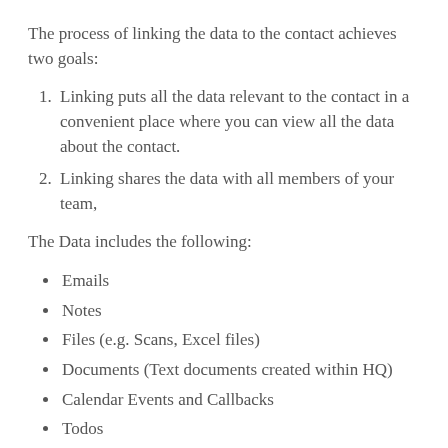The process of linking the data to the contact achieves two goals:
Linking puts all the data relevant to the contact in a convenient place where you can view all the data about the contact.
Linking shares the data with all members of your team,
The Data includes the following:
Emails
Notes
Files (e.g. Scans, Excel files)
Documents (Text documents created within HQ)
Calendar Events and Callbacks
Todos